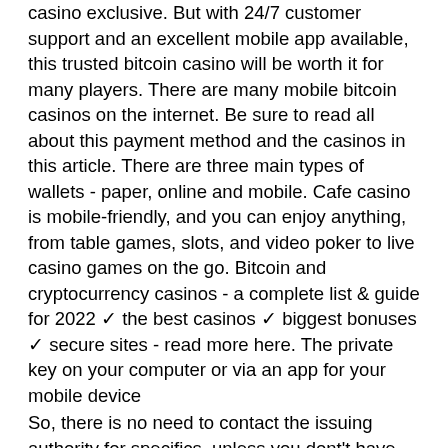casino exclusive. But with 24/7 customer support and an excellent mobile app available, this trusted bitcoin casino will be worth it for many players. There are many mobile bitcoin casinos on the internet. Be sure to read all about this payment method and the casinos in this article. There are three main types of wallets - paper, online and mobile. Cafe casino is mobile-friendly, and you can enjoy anything, from table games, slots, and video poker to live casino games on the go. Bitcoin and cryptocurrency casinos - a complete list &amp; guide for 2022 ✓ the best casinos ✓ biggest bonuses ✓ secure sites - read more here. The private key on your computer or via an app for your mobile device
So, there is no need to contact the issuing authority for specifics, unless you dont't have paper checks. A word of warning like paper checks, eChecks can bounce, best craps odds casino in vegas. This is not always an